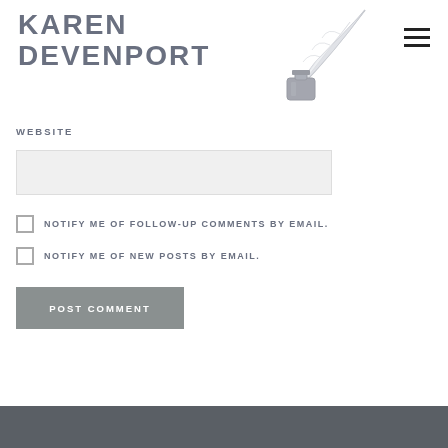[Figure (logo): Karen Devenport logo with text and quill pen ink bottle illustration]
WEBSITE
[Figure (screenshot): Website text input field (light gray filled rectangle)]
NOTIFY ME OF FOLLOW-UP COMMENTS BY EMAIL.
NOTIFY ME OF NEW POSTS BY EMAIL.
POST COMMENT